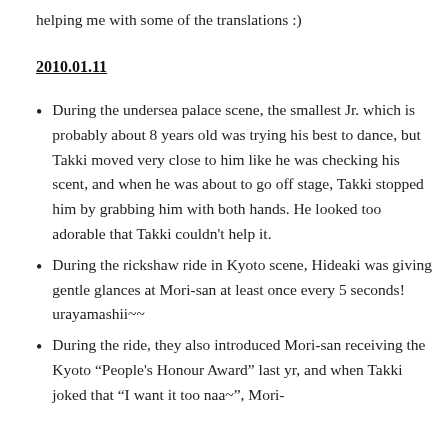helping me with some of the translations :)
2010.01.11
During the undersea palace scene, the smallest Jr. which is probably about 8 years old was trying his best to dance, but Takki moved very close to him like he was checking his scent, and when he was about to go off stage, Takki stopped him by grabbing him with both hands. He looked too adorable that Takki couldn't help it.
During the rickshaw ride in Kyoto scene, Hideaki was giving gentle glances at Mori-san at least once every 5 seconds! urayamashii~~
During the ride, they also introduced Mori-san receiving the Kyoto “People's Honour Award” last yr, and when Takki joked that “I want it too naa~”, Mori-